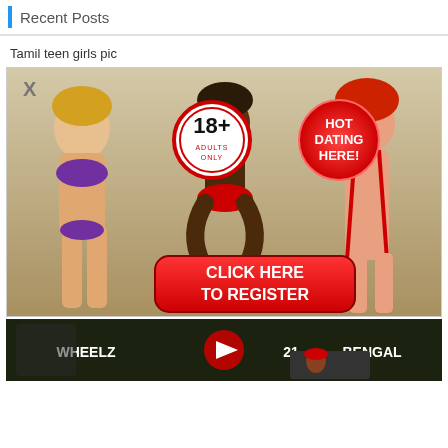Recent Posts
Tamil teen girls pic
[Figure (screenshot): Adult dating advertisement popup showing three women in swimwear, a '18+ Adults Only' badge, a 'HOT DATING HERE!' circle badge, and a red 'CLICK HERE TO REGISTER' button. Has an X close button in top left.]
[Figure (screenshot): Dark-themed video thumbnail showing football players with 'WHEELZ', '21', and 'BENGAL' text overlays, with a YouTube play button in the center. A smaller thumbnail shows a person in a red cap.]